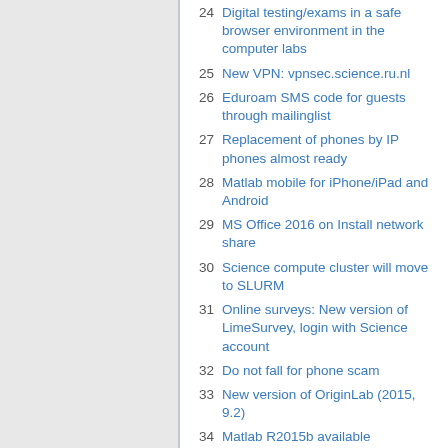24 Digital testing/exams in a safe browser environment in the computer labs
25 New VPN: vpnsec.science.ru.nl
26 Eduroam SMS code for guests through mailinglist
27 Replacement of phones by IP phones almost ready
28 Matlab mobile for iPhone/iPad and Android
29 MS Office 2016 on Install network share
30 Science compute cluster will move to SLURM
31 Online surveys: New version of LimeSurvey, login with Science account
32 Do not fall for phone scam
33 New version of OriginLab (2015, 9.2)
34 Matlab R2015b available